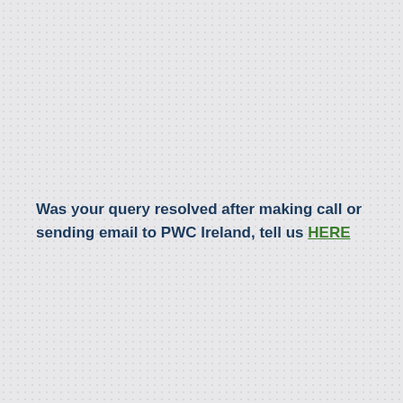Was your query resolved after making call or sending email to PWC Ireland, tell us HERE